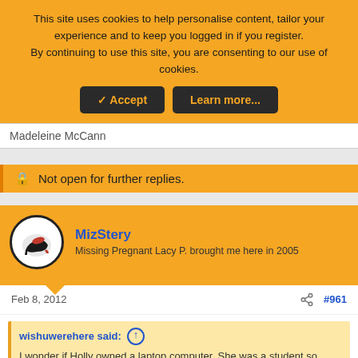This site uses cookies to help personalise content, tailor your experience and to keep you logged in if you register. By continuing to use this site, you are consenting to our use of cookies.
✓ Accept | Learn more...
Madeleine McCann
🔒 Not open for further replies.
MizStery
Missing Pregnant Lacy P. brought me here in 2005
Feb 8, 2012
#961
wishuwerehere said: ↑
I wonder if Holly owned a laptop computer. She was a student so